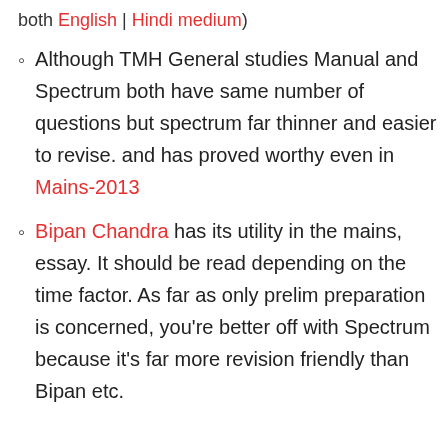both English | Hindi medium)
Although TMH General studies Manual and Spectrum both have same number of questions but spectrum far thinner and easier to revise. and has proved worthy even in Mains-2013
Bipan Chandra has its utility in the mains, essay. It should be read depending on the time factor. As far as only prelim preparation is concerned, you're better off with Spectrum because it's far more revision friendly than Bipan etc.